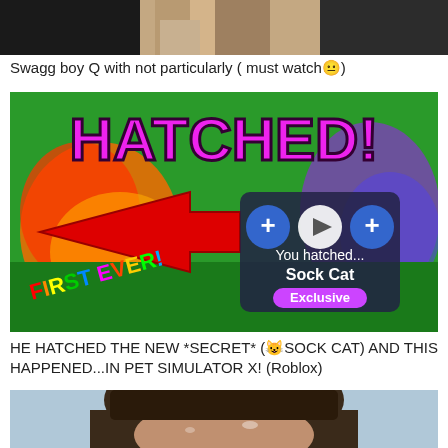[Figure (photo): Partial photo showing two people from waist down, dark background on left, beige/white tones in center, partial view]
Swagg boy Q with not particularly ( must watch😐)
[Figure (screenshot): YouTube video thumbnail for a Roblox Pet Simulator X video showing 'HATCHED!' text in pink/purple, a red arrow pointing right, a cat hatch animation showing 'You hatched... Sock Cat Exclusive', and 'FIRST EVER!' text in rainbow colors]
HE HATCHED THE NEW *SECRET* (😺SOCK CAT) AND THIS HAPPENED...IN PET SIMULATOR X! (Roblox)
[Figure (photo): Bottom portion showing a close-up of a person's face with wet/sweaty appearance, dark hair, looking downward]